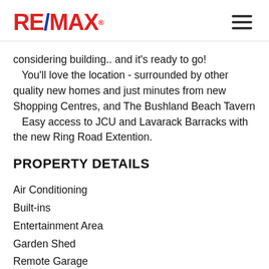RE/MAX
considering building.. and it's ready to go!
   You'll love the location - surrounded by other quality new homes and just minutes from new Shopping Centres, and The Bushland Beach Tavern
   Easy access to JCU and Lavarack Barracks with the new Ring Road Extention.
PROPERTY DETAILS
Air Conditioning
Built-ins
Entertainment Area
Garden Shed
Remote Garage
Screen Room...